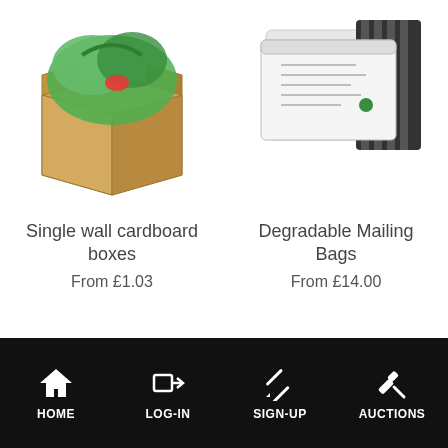[Figure (photo): Cardboard box open at the top filled with green plastic bags and items inside]
Single wall cardboard boxes
From £1.03
[Figure (photo): White degradable mailing bags with striped packaging stacked together]
Degradable Mailing Bags
From £14.00
HOME  LOG-IN  SIGN-UP  AUCTIONS